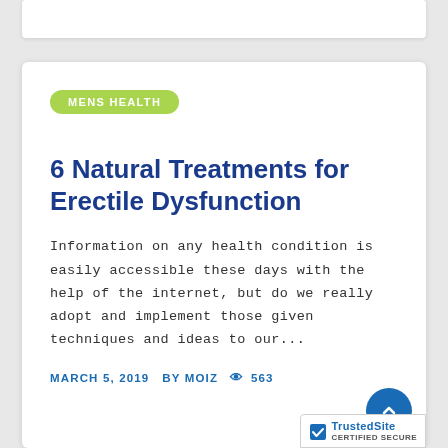MENS HEALTH
6 Natural Treatments for Erectile Dysfunction
Information on any health condition is easily accessible these days with the help of the internet, but do we really adopt and implement those given techniques and ideas to our...
MARCH 5, 2019  BY MOIZ  👁 563